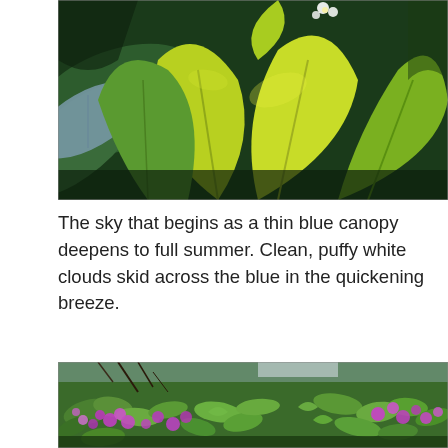[Figure (photo): Close-up photo of large green and yellow-green leaves with a small white flower visible at the top, and a pale blue-green leaf on the left side. Bright, sunlit garden foliage.]
The sky that begins as a thin blue canopy deepens to full summer. Clean, puffy white clouds skid across the blue in the quickening breeze.
[Figure (photo): Garden photo showing purple and pink flowers (cranesbill geraniums or similar) blooming among lush green foliage with soft feathery leaves.]